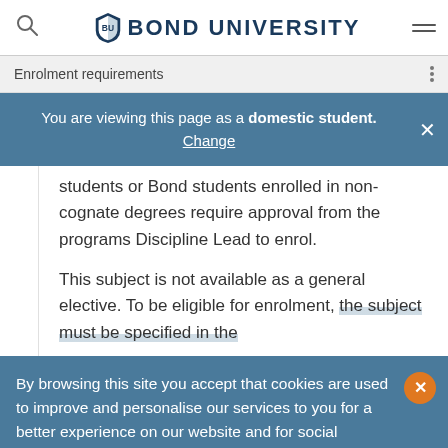Bond University — Enrolment requirements
You are viewing this page as a domestic student. Change
students or Bond students enrolled in non-cognate degrees require approval from the programs Discipline Lead to enrol.
This subject is not available as a general elective. To be eligible for enrolment, the subject must be specified in the
By browsing this site you accept that cookies are used to improve and personalise our services to you for a better experience on our website and for social activity. If you continue, we will assume that you agree to our use of cookies statement.